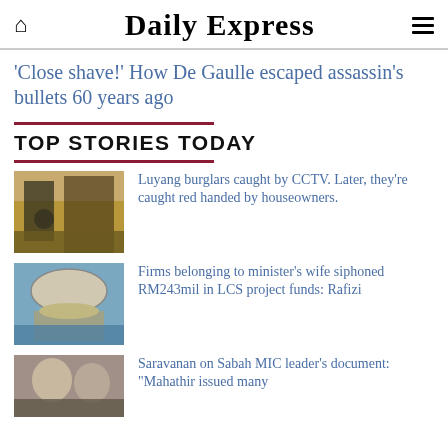Daily Express
'Close shave!' How De Gaulle escaped assassin's bullets 60 years ago
TOP STORIES TODAY
Luyang burglars caught by CCTV. Later, they're caught red handed by houseowners.
Firms belonging to minister's wife siphoned RM243mil in LCS project funds: Rafizi
Saravanan on Sabah MIC leader's document: "Mahathir issued many